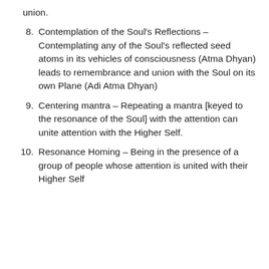union.
8. Contemplation of the Soul's Reflections – Contemplating any of the Soul's reflected seed atoms in its vehicles of consciousness (Atma Dhyan) leads to remembrance and union with the Soul on its own Plane (Adi Atma Dhyan)
9. Centering mantra – Repeating a mantra [keyed to the resonance of the Soul] with the attention can unite attention with the Higher Self.
10. Resonance Homing – Being in the presence of a group of people whose attention is united with their Higher Self